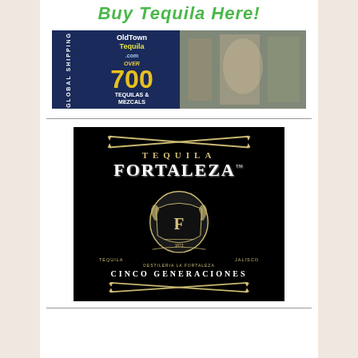Buy Tequila Here!
[Figure (photo): OldTownTequila.com banner advertisement with 'Global Shipping', 'Over 700 Tequilas & Mezcals' text on dark blue background, with photo of tequila store interior and owner]
[Figure (logo): Tequila Fortaleza logo on black background with crossed sabers, ornate crest with horses, shield with 'F' monogram, 'CINCO GENERACIONES', 'Destileria La Fortaleza, Jalisco' text]